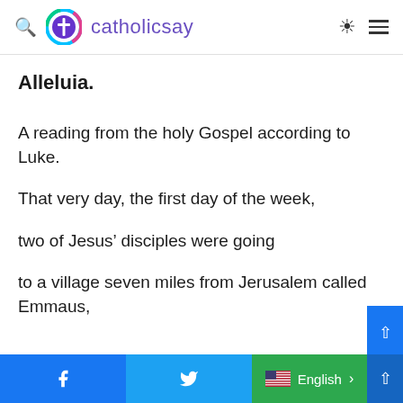catholicsay
Alleluia.
A reading from the holy Gospel according to Luke.
That very day, the first day of the week,
two of Jesus’ disciples were going
to a village seven miles from Jerusalem called Emmaus,
Facebook | Twitter | English